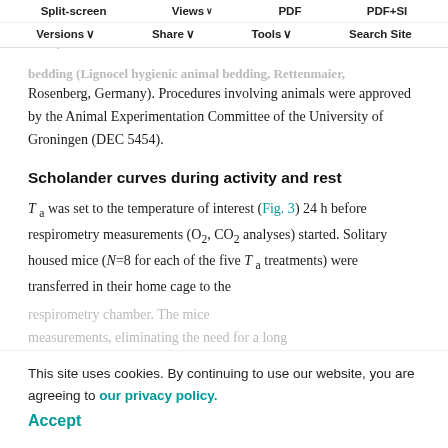Split-screen  Views  PDF  PDF+SI  Versions  Share  Tools  Search Site
measurements. Food (AM II diet rodent chow 16 mm, 17.5 kJ g⁻¹, ABdiet, Woerden, Netherlands) and water were provided ad libitum. Animals were housed on sawdust bedding (Lignocel hygienic animal bedding, Rettenmaier, Rosenberg, Germany). Procedures involving animals were approved by the Animal Experimentation Committee of the University of Groningen (DEC 5454).
Scholander curves during activity and rest
T a was set to the temperature of interest (Fig. 3) 24 h before respirometry measurements (O₂, CO₂ analyses) started. Solitary housed mice (N=8 for each of the five T a treatments) were transferred in their home cage to the respirometry chamber. The mice were kept in the respirometry chamber for at least 24 h before individual respirometry measurements, eliminating the need for a long
This site uses cookies. By continuing to use our website, you are agreeing to our privacy policy. Accept